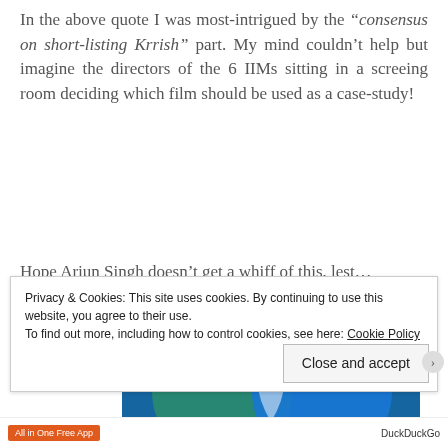In the above quote I was most-intrigued by the “consensus on short-listing Krrish” part. My mind couldn’t help but imagine the directors of the 6 IIMs sitting in a screeing room deciding which film should be used as a case-study!
Hope Arjun Singh doesn’t get a whiff of this, lest…
Advertisements
[Figure (illustration): Advertisement image showing two overlapping circles (Venn diagram style) on a teal/blue background with text 'Everything' and 'Anything' at the bottom]
Privacy & Cookies: This site uses cookies. By continuing to use this website, you agree to their use. To find out more, including how to control cookies, see here: Cookie Policy
Close and accept